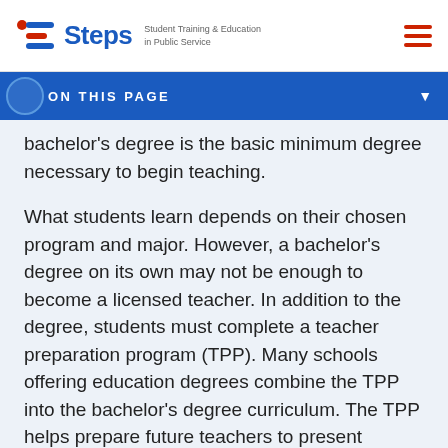Steps — Student Training & Education in Public Service
ON THIS PAGE
bachelor's degree is the basic minimum degree necessary to begin teaching.
What students learn depends on their chosen program and major. However, a bachelor's degree on its own may not be enough to become a licensed teacher. In addition to the degree, students must complete a teacher preparation program (TPP). Many schools offering education degrees combine the TPP into the bachelor's degree curriculum. The TPP helps prepare future teachers to present learning materials to students from different backgrounds and abilities. Di...